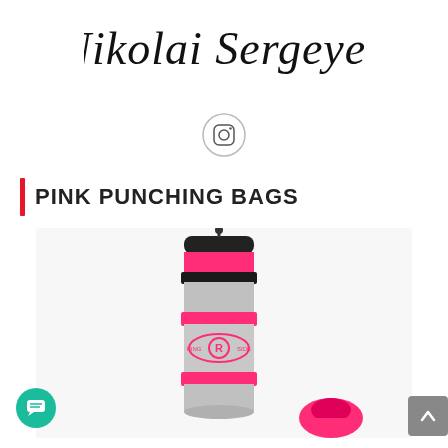Nikolai Sergeyev
[Figure (logo): Instagram icon circle with camera outline]
PINK PUNCHING BAGS
[Figure (photo): A pink and grey Ringside punching bag with black straps and a smaller pink boxing glove, displayed on white background]
[Figure (other): Teal chat/message button bottom left]
[Figure (other): Grey scroll-to-top button bottom right]